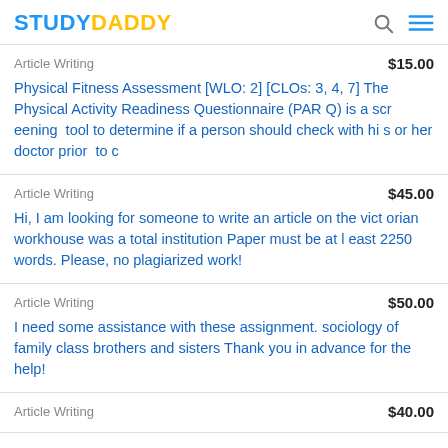STUDYDADDY
Article Writing | $15.00
Physical Fitness Assessment [WLO: 2] [CLOs: 3, 4, 7] The Physical Activity Readiness Questionnaire (PAR Q) is a screening tool to determine if a person should check with his or her doctor prior to c
Article Writing | $45.00
Hi, I am looking for someone to write an article on the victorian workhouse was a total institution Paper must be at least 2250 words. Please, no plagiarized work!
Article Writing | $50.00
I need some assistance with these assignment. sociology of family class brothers and sisters Thank you in advance for the help!
Article Writing | $40.00